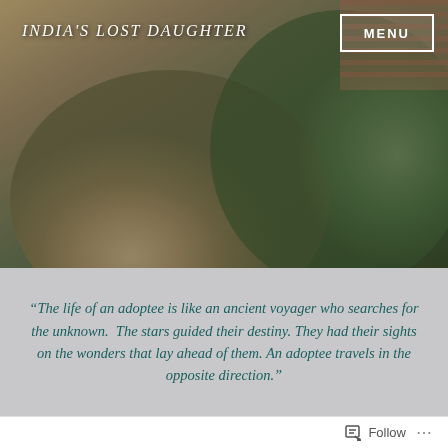[Figure (photo): Vintage photograph of a woman holding a baby wrapped in yellow, standing in a garden with green tropical plants and a brick building in the background. The image has a warm, aged tone.]
INDIA'S LOST DAUGHTER
MENU
“The life of an adoptee is like an ancient voyager who searches for the unknown. The stars guided their destiny. They had their sights on the wonders that lay ahead of them. An adoptee travels in the opposite direction.”
Follow ...